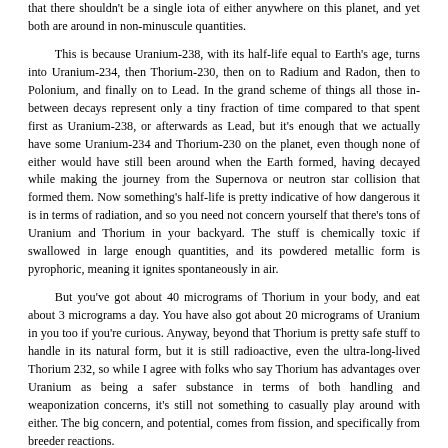that there shouldn't be a single iota of either anywhere on this planet, and yet both are around in non-minuscule quantities.
This is because Uranium-238, with its half-life equal to Earth's age, turns into Uranium-234, then Thorium-230, then on to Radium and Radon, then to Polonium, and finally on to Lead. In the grand scheme of things all those in-between decays represent only a tiny fraction of time compared to that spent first as Uranium-238, or afterwards as Lead, but it's enough that we actually have some Uranium-234 and Thorium-230 on the planet, even though none of either would have still been around when the Earth formed, having decayed while making the journey from the Supernova or neutron star collision that formed them. Now something's half-life is pretty indicative of how dangerous it is in terms of radiation, and so you need not concern yourself that there's tons of Uranium and Thorium in your backyard. The stuff is chemically toxic if swallowed in large enough quantities, and its powdered metallic form is pyrophoric, meaning it ignites spontaneously in air.
But you've got about 40 micrograms of Thorium in your body, and eat about 3 micrograms a day. You have also got about 20 micrograms of Uranium in you too if you're curious. Anyway, beyond that Thorium is pretty safe stuff to handle in its natural form, but it is still radioactive, even the ultra-long-lived Thorium 232, so while I agree with folks who say Thorium has advantages over Uranium as being a safer substance in terms of both handling and weaponization concerns, it's still not something to casually play around with either. The big concern, and potential, comes from fission, and specifically from breeder reactions.
Same as an unstable atom can decay into a different atom spontaneously, we can slap it with something, typically a neutron, and have it break apart, and some of the products can slide into...